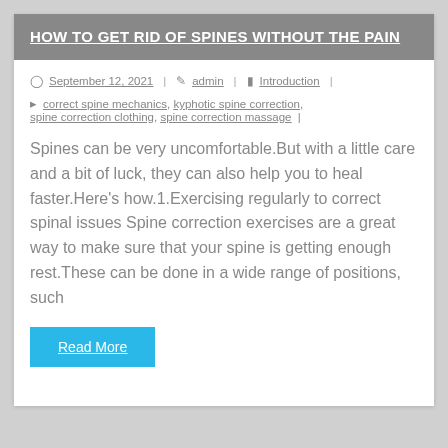HOW TO GET RID OF SPINES WITHOUT THE PAIN
September 12, 2021 | admin | Introduction
correct spine mechanics, kyphotic spine correction, spine correction clothing, spine correction massage |
Spines can be very uncomfortable.But with a little care and a bit of luck, they can also help you to heal faster.Here's how.1.Exercising regularly to correct spinal issues Spine correction exercises are a great way to make sure that your spine is getting enough rest.These can be done in a wide range of positions, such
Read More